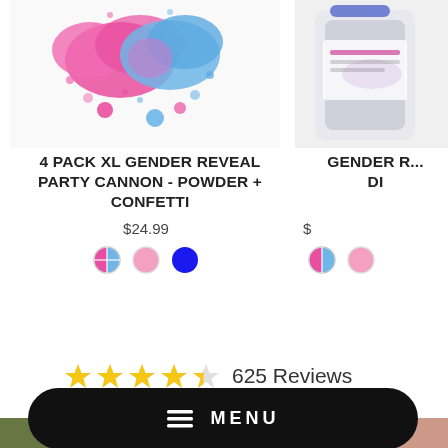[Figure (photo): Product image showing pink and blue powder/confetti gender reveal explosion on white background]
4 PACK XL GENDER REVEAL PARTY CANNON - POWDER + CONFETTI
$24.99
[Figure (photo): Partial product image on right side - appears to be a bottle/canister, partially cropped]
GENDER R... DI
625 Reviews
Write a review
MENU